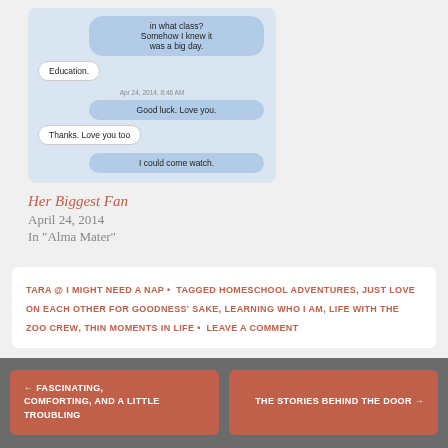[Figure (screenshot): iPhone text message screenshot showing a conversation with bubbles: 'in what class? Somehow I knew it was a big day.' (right/blue), 'Education.' (left/white), timestamp 'Apr 24, 2014, 8:46 AM', 'Good luck. Love you.' (right/blue), 'Thanks. Love you too' (left/white), 'I could come watch.' (right/blue)]
Her Biggest Fan
April 24, 2014
In "Alma Mater"
TARA @ I MIGHT NEED A NAP • TAGGED HOMESCHOOL ADVENTURES, JUST LOVE ON EACH OTHER FOR GOODNESS' SAKE, LEARNING WHO I AM, LIFE WITH THE ZOO CREW, THIN MOMENTS IN LIFE • LEAVE A COMMENT
← FASCINATING, COMFORTING, AND A LITTLE TROUBLING
THE STORIES BEHIND THE DOOR →